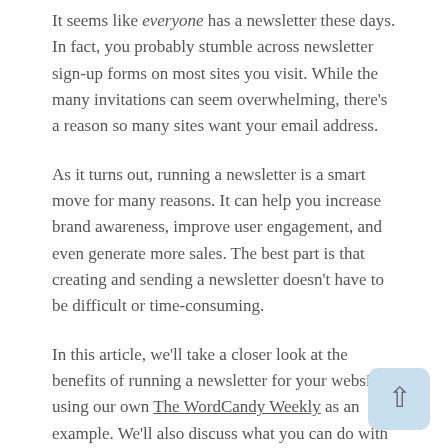It seems like everyone has a newsletter these days. In fact, you probably stumble across newsletter sign-up forms on most sites you visit. While the many invitations can seem overwhelming, there's a reason so many sites want your email address.
As it turns out, running a newsletter is a smart move for many reasons. It can help you increase brand awareness, improve user engagement, and even generate more sales. The best part is that creating and sending a newsletter doesn't have to be difficult or time-consuming.
In this article, we'll take a closer look at the benefits of running a newsletter for your website, using our own The WordCandy Weekly as an example. We'll also discuss what you can do with your newsletter, before showing you the basics of how to set one up for